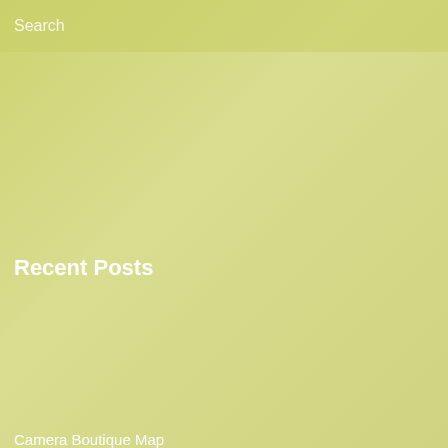Search
Recent Posts
Camera Boutique Map
How To Shoot Close
Download A Free Trial Or Purchase Adobe Merchandise
121 Best Free Lightroom Presets That You Will Fall In Love With
Proceedings Of The 2nd Worldwide Convention On Social,